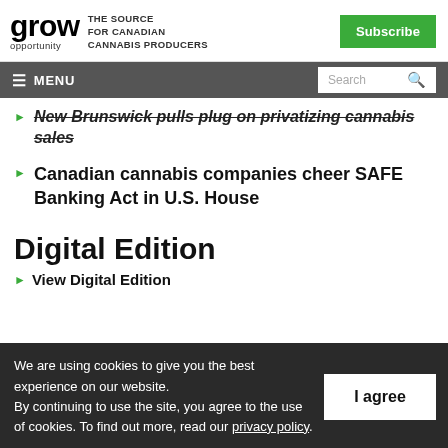grow opportunity — THE SOURCE FOR CANADIAN CANNABIS PRODUCERS | Subscribe
≡ MENU | Search
New Brunswick pulls plug on privatizing cannabis sales
Canadian cannabis companies cheer SAFE Banking Act in U.S. House
Digital Edition
View Digital Edition
We are using cookies to give you the best experience on our website. By continuing to use the site, you agree to the use of cookies. To find out more, read our privacy policy.